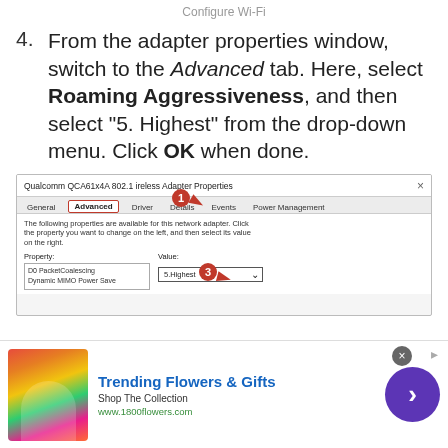Configure Wi-Fi
4. From the adapter properties window, switch to the Advanced tab. Here, select Roaming Aggressiveness, and then select “5. Highest” from the drop-down menu. Click OK when done.
[Figure (screenshot): Screenshot of Qualcomm QCA61x4A 802.11 Wireless Adapter Properties dialog with Advanced tab selected, showing Property list with D0 PacketCoalescing and Dynamic MIMO Power Save, and Value dropdown showing 5.Highest. Annotation circles numbered 1 and 3 with red arrows point to the Advanced tab and Value dropdown respectively.]
[Figure (infographic): Advertisement banner for 1800flowers.com - Trending Flowers & Gifts, Shop The Collection, www.1800flowers.com, with flower bouquet image and purple arrow button]